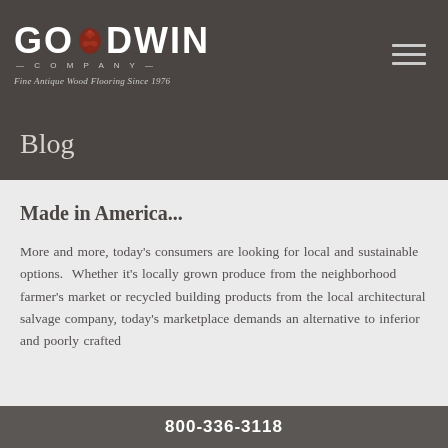[Figure (logo): Goodwin Company logo — bold white uppercase text 'GOODWIN' with a red pinecone replacing the letter O, subtitle 'COMPANY' in small spaced caps, tagline 'Fine Antique Wood Flooring Since 1976' in italic below]
Blog
Made in America...
More and more, today's consumers are looking for local and sustainable options. Whether it's locally grown produce from the neighborhood farmer's market or recycled building products from the local architectural salvage company, today's marketplace demands an alternative to inferior and poorly crafted
800-336-3118